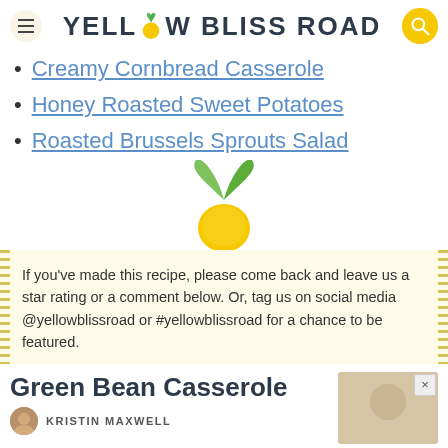YELLOW BLISS ROAD
Creamy Cornbread Casserole
Honey Roasted Sweet Potatoes
Roasted Brussels Sprouts Salad
[Figure (logo): Yellow Bliss Road lemon logo illustration - yellow lemon fruit with green leaves]
If you've made this recipe, please come back and leave us a star rating or a comment below. Or, tag us on social media @yellowblissroad or #yellowblissroad for a chance to be featured.
Green Bean Casserole
KRISTIN MAXWELL